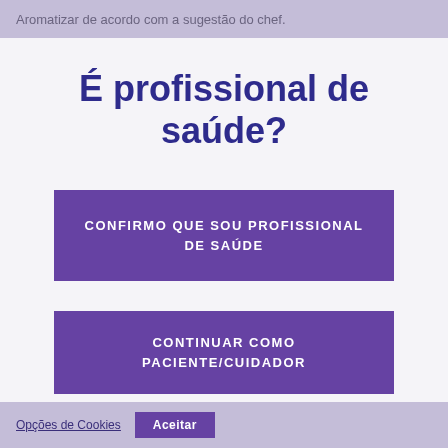Aromatizar de acordo com a sugestão do chef.
É profissional de saúde?
CONFIRMO QUE SOU PROFISSIONAL DE SAÚDE
CONTINUAR COMO PACIENTE/CUIDADOR
Opções de Cookies   Aceitar